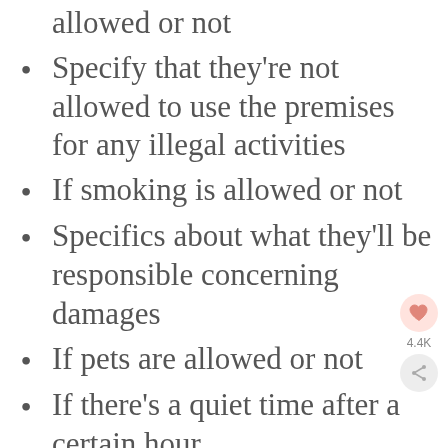allowed or not
Specify that they're not allowed to use the premises for any illegal activities
If smoking is allowed or not
Specifics about what they'll be responsible concerning damages
If pets are allowed or not
If there's a quiet time after a certain hour
Any fees for lost keys